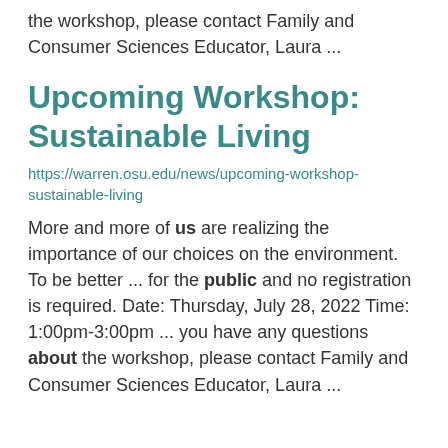the workshop, please contact Family and Consumer Sciences Educator, Laura ...
Upcoming Workshop: Sustainable Living
https://warren.osu.edu/news/upcoming-workshop-sustainable-living
More and more of us are realizing the importance of our choices on the environment. To be better ... for the public and no registration is required. Date: Thursday, July 28, 2022 Time:  1:00pm-3:00pm ... you have any questions about the workshop, please contact Family and Consumer Sciences Educator, Laura ...